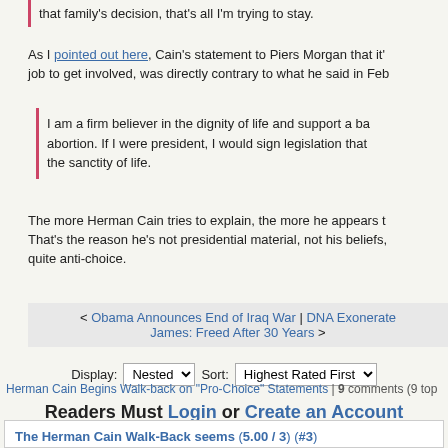that family's decision, that's all I'm trying to stay.
As I pointed out here, Cain's statement to Piers Morgan that it's not the government's job to get involved, was directly contrary to what he said in Feb...
I am a firm believer in the dignity of life and support a ban on all abortions. If I were president, I would sign legislation that... the sanctity of life.
The more Herman Cain tries to explain, the more he appears to... That's the reason he's not presidential material, not his beliefs,... quite anti-choice.
< Obama Announces End of Iraq War | DNA Exonerates James: Freed After 30 Years >
Display: Nested Sort: Highest Rated First
Herman Cain Begins Walk-back on "Pro-Choice" Statements | 9 comments (9 top...
Readers Must Login or Create an Account
The Herman Cain Walk-Back seems (5.00 / 3) (#3)
by Anne on Fri Oct 21, 2011 at 02:31:24 PM EST
more like the Hokey-Pokey to me.